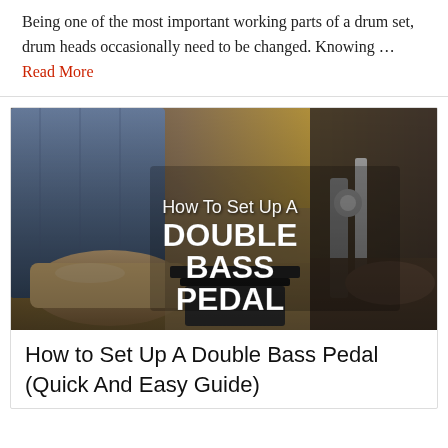Being one of the most important working parts of a drum set, drum heads occasionally need to be changed. Knowing … Read More
[Figure (photo): Photo of a double bass pedal setup near a drum kit with feet in jeans and boots visible, overlaid with text 'How To Set Up A DOUBLE BASS PEDAL']
How to Set Up A Double Bass Pedal (Quick And Easy Guide)